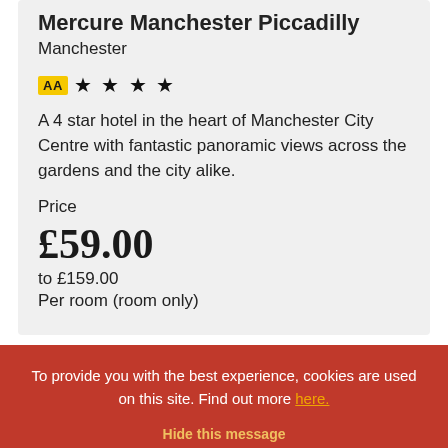Mercure Manchester Piccadilly
Manchester
[Figure (other): AA badge with 4 stars rating]
A 4 star hotel in the heart of Manchester City Centre with fantastic panoramic views across the gardens and the city alike.
Price
£59.00
to £159.00
Per room (room only)
To provide you with the best experience, cookies are used on this site. Find out more here.
Hide this message